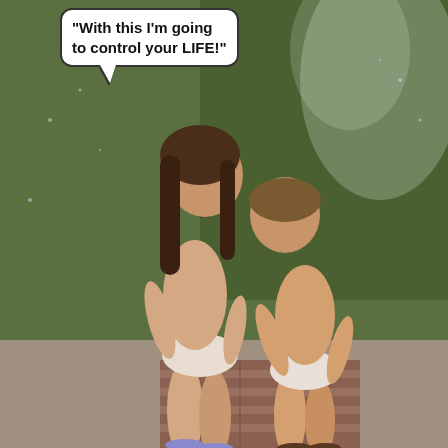[Figure (photo): Two young children outdoors near a sprinkler/water. One taller child with long wet hair wearing shorts bending toward a shorter child wearing a diaper/underwear, both standing on a brick path with green grass in background. A speech bubble reads: "With this I'm going to control your LIFE!"]